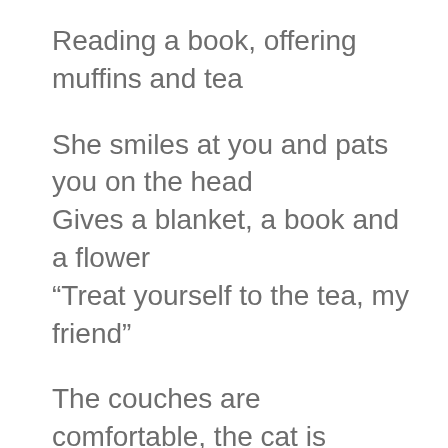Reading a book, offering muffins and tea
She smiles at you and pats you on the head
Gives a blanket, a book and a flower
“Treat yourself to the tea, my friend”
The couches are comfortable, the cat is noisy
But there’s always something different
Sometimes the lights, sometimes the posies
A corner is for those who want to be left alone
The jukebox for ones who needs a friend